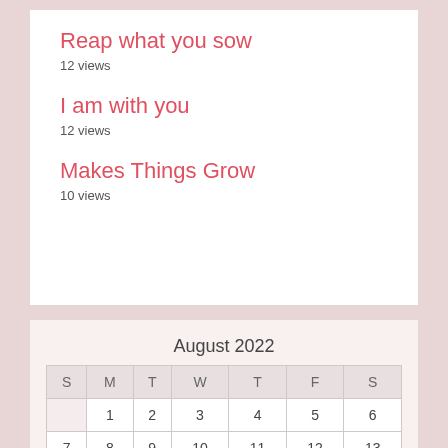Reap what you sow
12 views
I am with you
12 views
Makes Things Grow
10 views
August 2022
| S | M | T | W | T | F | S |
| --- | --- | --- | --- | --- | --- | --- |
|  | 1 | 2 | 3 | 4 | 5 | 6 |
| 7 | 8 | 9 | 10 | 11 | 12 | 13 |